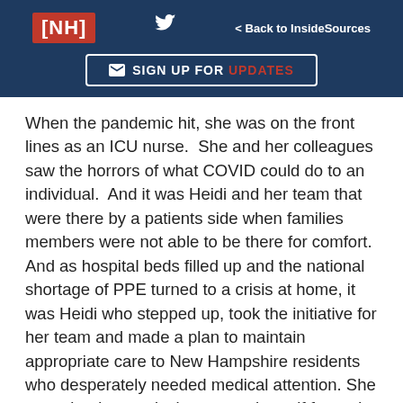[NH] | Twitter | < Back to InsideSources | SIGN UP FOR UPDATES
When the pandemic hit, she was on the front lines as an ICU nurse.  She and her colleagues saw the horrors of what COVID could do to an individual.  And it was Heidi and her team that were there by a patients side when families members were not able to be there for comfort.  And as hospital beds filled up and the national shortage of PPE turned to a crisis at home, it was Heidi who stepped up, took the initiative for her team and made a plan to maintain appropriate care to New Hampshire residents who desperately needed medical attention. She committed to producing gowns herself for and her colleagues on the front lines.